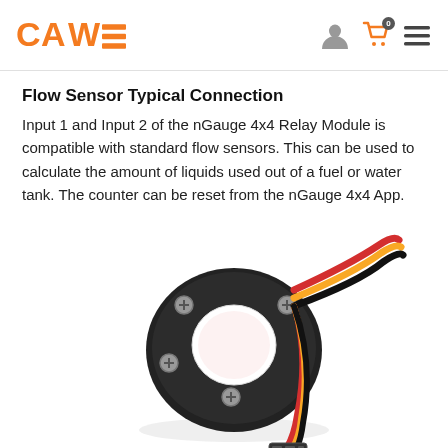CAWE [logo] — navigation header with cart (0) and menu icons
Flow Sensor Typical Connection
Input 1 and Input 2 of the nGauge 4x4 Relay Module is compatible with standard flow sensors. This can be used to calculate the amount of liquids used out of a fuel or water tank. The counter can be reset from the nGauge 4x4 App.
[Figure (photo): A black plastic water flow sensor with threaded fittings and three wires (red, yellow, black) with a connector at the end, viewed from above at an angle.]